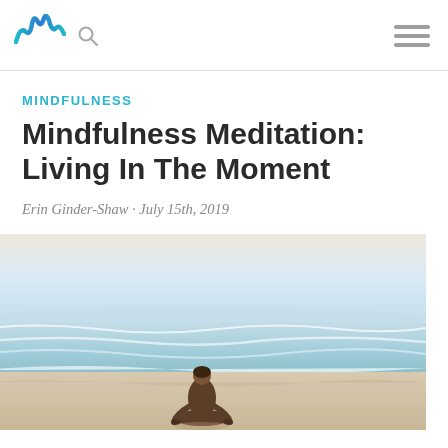Logo and navigation header
MINDFULNESS
Mindfulness Meditation: Living In The Moment
Erin Ginder-Shaw · July 15th, 2019
[Figure (photo): Person sitting in lotus meditation pose on a sandy beach facing ocean waves, viewed from behind. Light hazy sky and gentle surf in the background.]